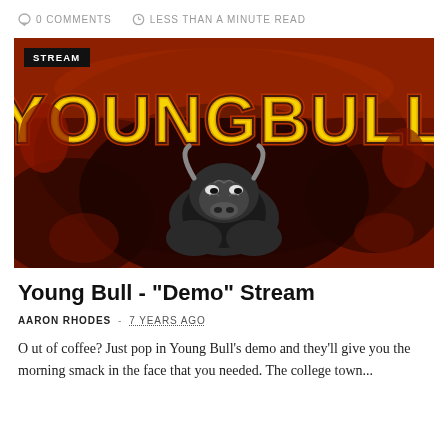0 COMMENTS   LESS THAN A MINUTE READ
[Figure (illustration): Young Bull band demo album art showing large stylized orange-to-yellow 'YOUNGBULL' text arching over a dark painted bull image on a red and black background, with a black 'STREAM' badge in the top left corner.]
Young Bull - "Demo" Stream
AARON RHODES  -  7 YEARS AGO
O ut of coffee? Just pop in Young Bull's demo and they'll give you the morning smack in the face that you needed. The college town...